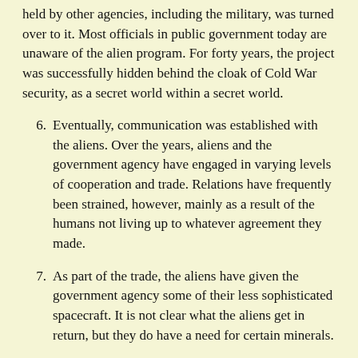held by other agencies, including the military, was turned over to it. Most officials in public government today are unaware of the alien program. For forty years, the project was successfully hidden behind the cloak of Cold War security, as a secret world within a secret world.
6. Eventually, communication was established with the aliens. Over the years, aliens and the government agency have engaged in varying levels of cooperation and trade. Relations have frequently been strained, however, mainly as a result of the humans not living up to whatever agreement they made.
7. As part of the trade, the aliens have given the government agency some of their less sophisticated spacecraft. It is not clear what the aliens get in return, but they do have a need for certain minerals.
8. The government agency has long been engaged in a program to reproduce the alien craft. Sources conflict as to whether the program has actually been successful.
9. Flying saucers have been regularly flown from the "Test Site," but it is unclear whether the craft are "ours" or "theirs." It is also not clear whether any saucers are housed there now.